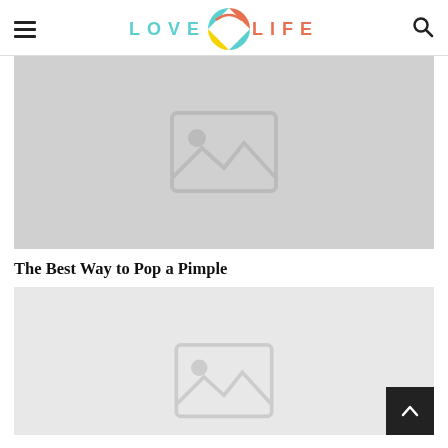LOVE LIFE
[Figure (photo): Placeholder image with grey background and image icon]
The Best Way to Pop a Pimple
[Figure (photo): Placeholder image with light grey background and image icon (partially visible)]